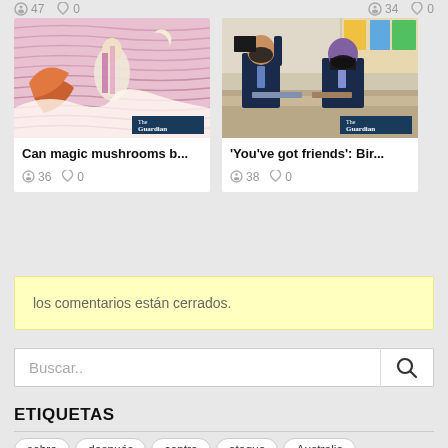47  0  |  34  0
[Figure (screenshot): Card thumbnail: colorful psychedelic illustration with The Guardian badge]
Can magic mushrooms b...
36  0
[Figure (screenshot): Card thumbnail: school students with masks at desks, The Guardian badge]
'You've got friends': Bir...
38  0
los comentarios están cerrados.
Buscar..
ETIQUETAS
sobre
después
contra
ataque
Australia
Biden
Boris
dibujos animados
casos
clima
pudo
Tribunal
COVID-19
crisis
David
Editorial
elección
energía